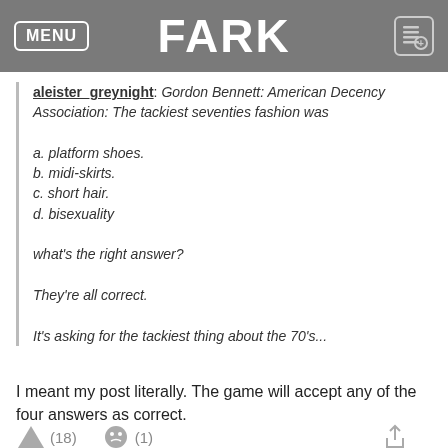MENU   FARK
aleister_greynight: Gordon Bennett: American Decency Association: The tackiest seventies fashion was

a. platform shoes.
b. midi-skirts.
c. short hair.
d. bisexuality

what's the right answer?

They're all correct.

It's asking for the tackiest thing about the 70's...
I meant my post literally. The game will accept any of the four answers as correct.